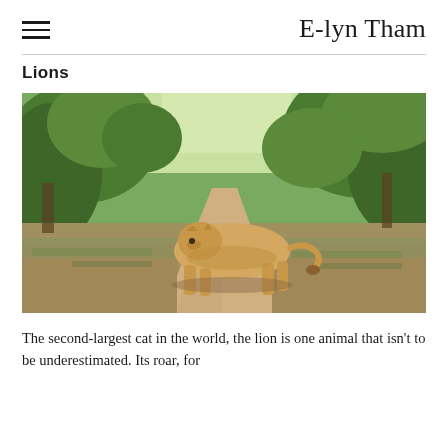E-lyn Tham
Lions
[Figure (photo): A lioness walking across a sandy dirt path in a lush green savanna environment, photographed from the side, with trees and shrubs visible in the background.]
The second-largest cat in the world, the lion is one animal that isn't to be underestimated. Its roar, for